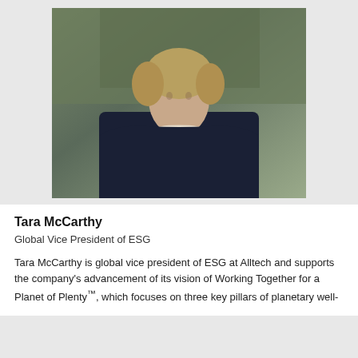[Figure (photo): Professional headshot of Tara McCarthy, a woman with short blonde hair wearing a dark navy blazer and pearl necklace, photographed outdoors with green foliage background.]
Tara McCarthy
Global Vice President of ESG
Tara McCarthy is global vice president of ESG at Alltech and supports the company's advancement of its vision of Working Together for a Planet of Plenty™, which focuses on three key pillars of planetary well-